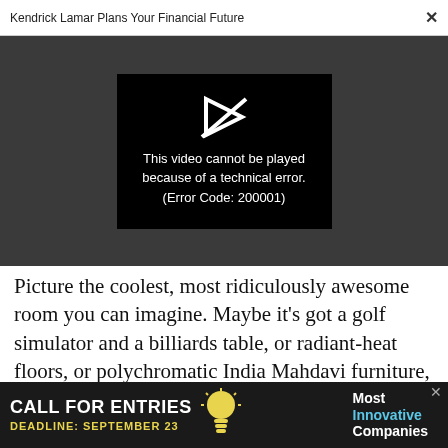Kendrick Lamar Plans Your Financial Future ×
[Figure (screenshot): Video player showing error message: 'This video cannot be played because of a technical error. (Error Code: 200001)' on a black background within a dark gray media player area.]
Picture the coolest, most ridiculously awesome room you can imagine. Maybe it's got a golf simulator and a billiards table, or radiant-heat floors, or polychromatic India Mahdavi furniture, or meticulously cultivated hygge. Whatever it is
[Figure (screenshot): Advertisement banner: 'CALL FOR ENTRIES DEADLINE: SEPTEMBER 23' with lightbulb icon and 'Most Innovative Companies' text on dark background.]